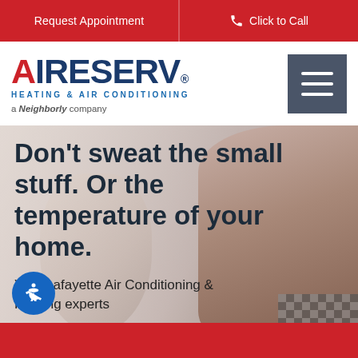Request Appointment | Click to Call
[Figure (logo): Aire Serv Heating & Air Conditioning logo — a Neighborly company]
[Figure (photo): Hero image of two people (adult and child) in a home setting with warm lighting]
Don't sweat the small stuff. Or the temperature of your home.
Your Lafayette Air Conditioning & Heating experts